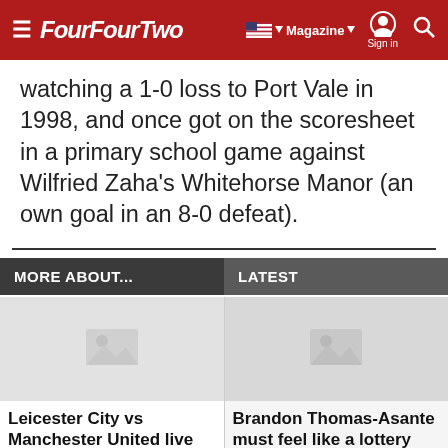FourFourTwo — Magazine | Sign in | Search
watching a 1-0 loss to Port Vale in 1998, and once got on the scoresheet in a primary school game against Wilfried Zaha's Whitehorse Manor (an own goal in an 8-0 defeat).
MORE ABOUT...
LATEST
[Figure (photo): Placeholder image for Leicester City vs Manchester United article]
Leicester City vs Manchester United live stream: How to watch
[Figure (photo): Placeholder image for Brandon Thomas-Asante article]
Brandon Thomas-Asante must feel like a lottery winner – Steve